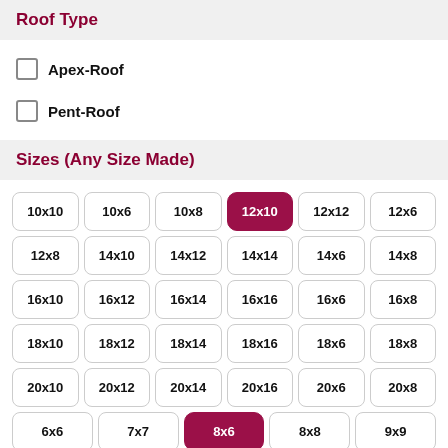Roof Type
Apex-Roof
Pent-Roof
Sizes (Any Size Made)
10x10, 10x6, 10x8, 12x10 (selected), 12x12, 12x6, 12x8, 14x10, 14x12, 14x14, 14x6, 14x8, 16x10, 16x12, 16x14, 16x16, 16x6, 16x8, 18x10, 18x12, 18x14, 18x16, 18x6, 18x8, 20x10, 20x12, 20x14, 20x16, 20x6, 20x8, 6x6, 7x7, 8x6 (selected), 8x8, 9x9